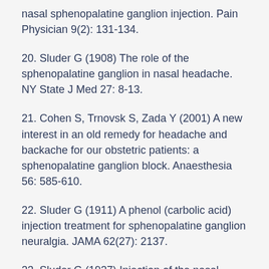nasal sphenopalatine ganglion injection. Pain Physician 9(2): 131-134.
20. Sluder G (1908) The role of the sphenopalatine ganglion in nasal headache. NY State J Med 27: 8-13.
21. Cohen S, Trnovsk S, Zada Y (2001) A new interest in an old remedy for headache and backache for our obstetric patients: a sphenopalatine ganglion block. Anaesthesia 56: 585-610.
22. Sluder G (1911) A phenol (carbolic acid) injection treatment for sphenopalatine ganglion neuralgia. JAMA 62(27): 2137.
23. Sluder G (1927) Injection of the nasal ganglion and comparison of methods. Ann Otol Rhinol Laryngol 36(3): 648-655.